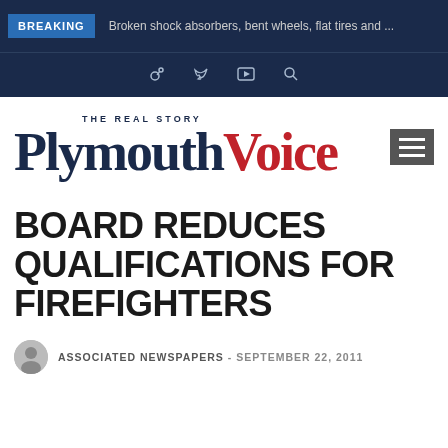BREAKING  Broken shock absorbers, bent wheels, flat tires and ...
[Figure (logo): Plymouth Voice THE REAL STORY newspaper logo with hamburger menu icon]
BOARD REDUCES QUALIFICATIONS FOR FIREFIGHTERS
ASSOCIATED NEWSPAPERS - SEPTEMBER 22, 2011